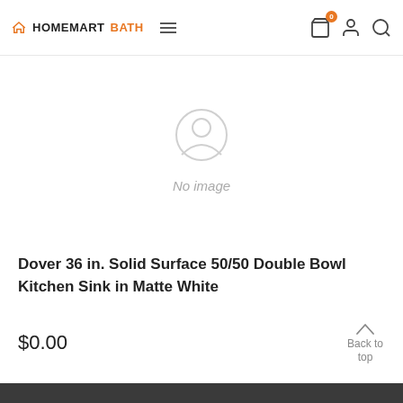HOMEMARTBATH
[Figure (illustration): No image placeholder with a circular icon showing a broken image symbol and the text 'No image' below it]
Dover 36 in. Solid Surface 50/50 Double Bowl Kitchen Sink in Matte White
$0.00
Back to top